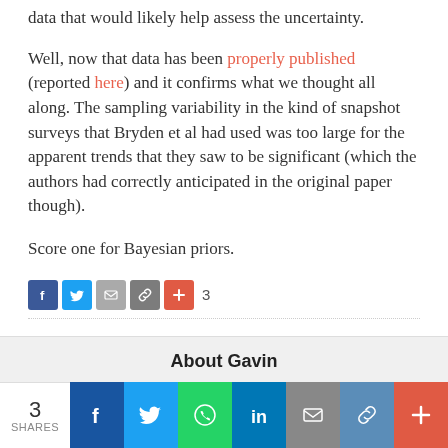data that would likely help assess the uncertainty.
Well, now that data has been properly published (reported here) and it confirms what we thought all along. The sampling variability in the kind of snapshot surveys that Bryden et al had used was too large for the apparent trends that they saw to be significant (which the authors had correctly anticipated in the original paper though).
Score one for Bayesian priors.
[Figure (infographic): Social share icons row: Facebook (blue), Twitter (blue), Email (grey), Copy link (grey), Plus/More (red), share count 3]
FILED UNDER: CLIMATE SCIENCE, OCEANS
About Gavin
[Figure (infographic): Bottom social share bar with count 3 SHARES, and icons for Facebook, Twitter, WhatsApp, LinkedIn, Email, Copy, Plus]